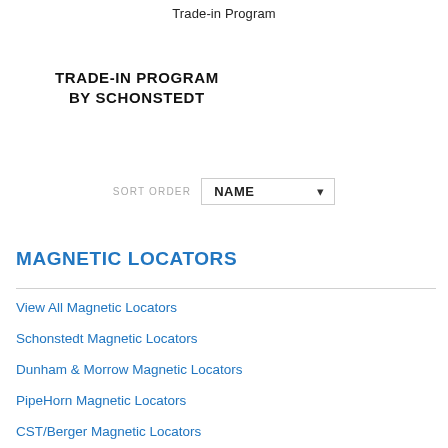Trade-in Program
TRADE-IN PROGRAM
BY SCHONSTEDT
SORT ORDER  NAME
MAGNETIC LOCATORS
View All Magnetic Locators
Schonstedt Magnetic Locators
Dunham & Morrow Magnetic Locators
PipeHorn Magnetic Locators
CST/Berger Magnetic Locators